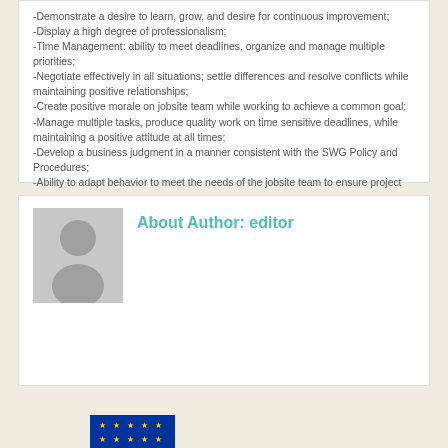-Demonstrate a desire to learn, grow, and desire for continuous improvement;
-Display a high degree of professionalism;
-Time Management: ability to meet deadlines, organize and manage multiple priorities;
-Negotiate effectively in all situations; settle differences and resolve conflicts while maintaining positive relationships;
-Create positive morale on jobsite team while working to achieve a common goal;
-Manage multiple tasks, produce quality work on time sensitive deadlines, while maintaining a positive attitude at all times;
-Develop a business judgment in a manner consistent with the SWG Policy and Procedures;
-Ability to adapt behavior to meet the needs of the jobsite team to ensure project success;
-Ability to effectively communicate both verbally and written.
Interested applicants are invited to send CV and Motivation Letter on the e-mail address: julija.vladimirova@swg-seerural.org latest until July 20th, 2018. with reference to “Call for Project Assistant”. Phone calls will not be accepted.
About Author: editor
[Figure (illustration): Generic gray avatar placeholder image showing a silhouette of a person]
[Figure (logo): EU flag with blue background and yellow stars, partially visible at bottom]